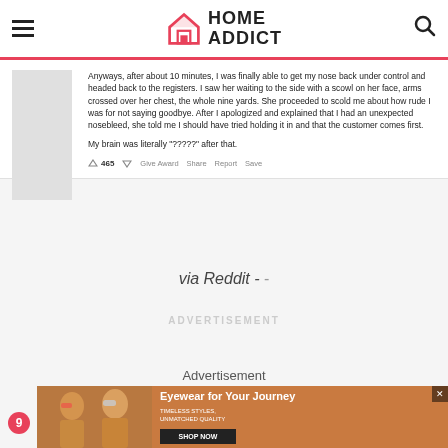HOME ADDICT
Anyways, after about 10 minutes, I was finally able to get my nose back under control and headed back to the registers. I saw her waiting to the side with a scowl on her face, arms crossed over her chest, the whole nine yards. She proceeded to scold me about how rude I was for not saying goodbye. After I apologized and explained that I had an unexpected nosebleed, she told me I should have tried holding it in and that the customer comes first.

My brain was literally "?????" after that.
via Reddit -
ADVERTISEMENT
Advertisement
[Figure (photo): Advertisement banner for eyewear brand showing two women wearing sunglasses with text 'Eyewear for Your Journey', 'TIMELESS STYLES, UNMATCHED QUALITY', and a 'SHOP NOW' button]